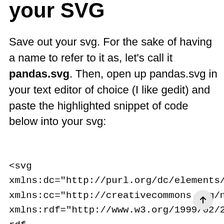your SVG
Save out your svg. For the sake of having a name to refer to it as, let's call it pandas.svg. Then, open up pandas.svg in your text editor of choice (I like gedit) and paste the highlighted snippet of code below into your svg:
<svg
xmlns:dc="http://purl.org/dc/elements/1.1/"
xmlns:cc="http://creativecommons.org/ns#"
xmlns:rdf="http://www.w3.org/1999/02/22-rd...